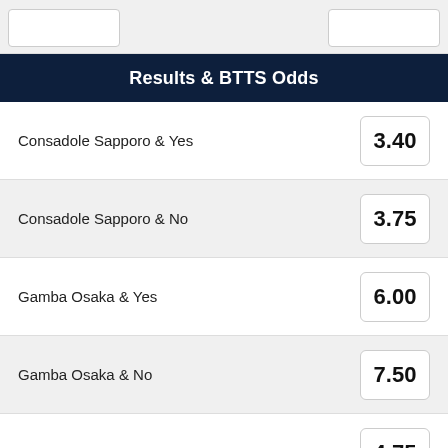Results & BTTS Odds
Consadole Sapporo & Yes  3.40
Consadole Sapporo & No  3.75
Gamba Osaka & Yes  6.00
Gamba Osaka & No  7.50
Draw & Yes  4.75